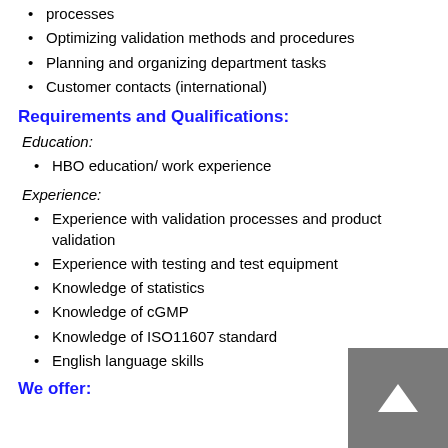Ensuring and supporting validation of internal (production) processes
Optimizing validation methods and procedures
Planning and organizing department tasks
Customer contacts (international)
Requirements and Qualifications:
Education:
HBO education/ work experience
Experience:
Experience with validation processes and product validation
Experience with testing and test equipment
Knowledge of statistics
Knowledge of cGMP
Knowledge of ISO11607 standard
English language skills
We offer: